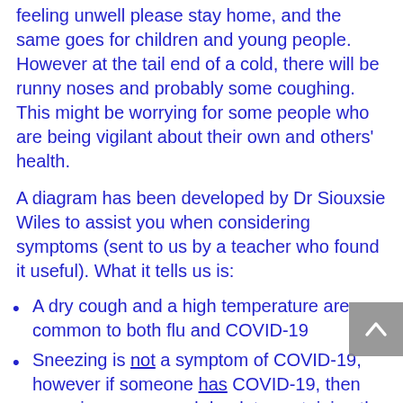feeling unwell please stay home, and the same goes for children and young people. However at the tail end of a cold, there will be runny noses and probably some coughing. This might be worrying for some people who are being vigilant about their own and others' health.
A diagram has been developed by Dr Siouxsie Wiles to assist you when considering symptoms (sent to us by a teacher who found it useful). What it tells us is:
A dry cough and a high temperature are common to both flu and COVID-19
Sneezing is not a symptom of COVID-19, however if someone has COVID-19, then sneezing can spread droplets containing the